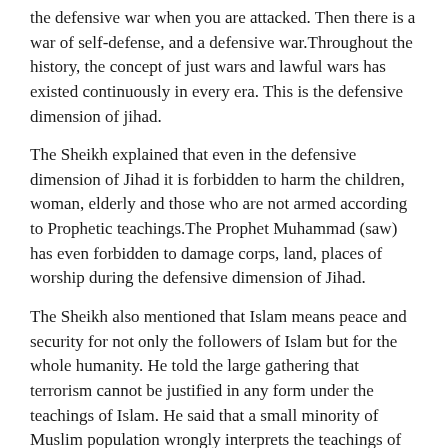the defensive war when you are attacked. Then there is a war of self-defense, and a defensive war.Throughout the history, the concept of just wars and lawful wars has existed continuously in every era. This is the defensive dimension of jihad.
The Sheikh explained that even in the defensive dimension of Jihad it is forbidden to harm the children, woman, elderly and those who are not armed according to Prophetic teachings.The Prophet Muhammad (saw) has even forbidden to damage corps, land, places of worship during the defensive dimension of Jihad.
The Sheikh also mentioned that Islam means peace and security for not only the followers of Islam but for the whole humanity. He told the large gathering that terrorism cannot be justified in any form under the teachings of Islam. He said that a small minority of Muslim population wrongly interprets the teachings of the Holy Quran. Unfortunately, the majority are peaceful and peace-loving Muslims and remain unheard, as they don’t make any news. On the other hand, that minority people who create mischief and nuisance get huge coverage in the media headlines, which gives a false impression to the people living in the West that all Muslims are extremists, which is totally wrong.